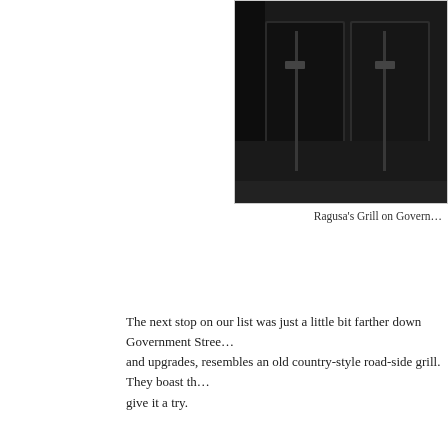[Figure (photo): Photo of Ragusa's Grill exterior/interior, dark interior shot showing glass doors, partially cropped on right side of page]
Ragusa’s Grill on Govern…
The next stop on our list was just a little bit farther down Government Stree… and upgrades, resembles an old country-style road-side grill.  They boast th… give it a try.
[Figure (photo): Photo of a cheeseburger with melted yellow cheese on top, served in a white styrofoam container with lettuce, tomato, and onion on the side]